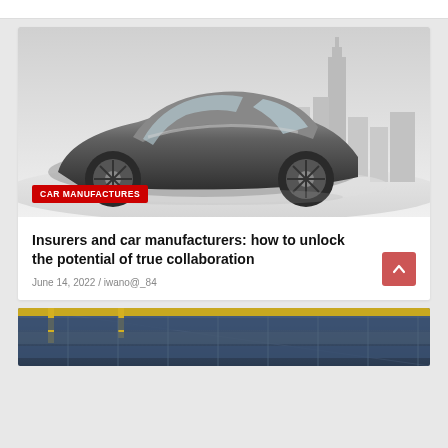[Figure (photo): Side view of a futuristic concept car in silver/black against a light background with a city skyline (including a tall skyscraper) in the background. Black and white cityscape, glossy car surface.]
CAR MANUFACTURES
Insurers and car manufacturers: how to unlock the potential of true collaboration
June 14, 2022 / iwano@_84
[Figure (photo): Partial view of stadium seating or solar panels with yellow structural elements visible at the top.]